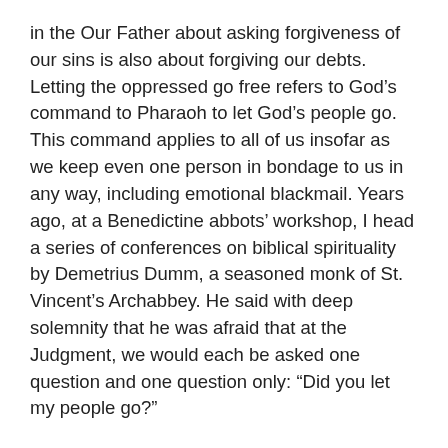in the Our Father about asking forgiveness of our sins is also about forgiving our debts. Letting the oppressed go free refers to God’s command to Pharaoh to let God’s people go. This command applies to all of us insofar as we keep even one person in bondage to us in any way, including emotional blackmail. Years ago, at a Benedictine abbots’ workshop, I head a series of conferences on biblical spirituality by Demetrius Dumm, a seasoned monk of St. Vincent’s Archabbey. He said with deep solemnity that he was afraid that at the Judgment, we would each be asked one question and one question only: “Did you let my people go?”
These teachings are the primary blueprint for a community based on Christ, what some call Church, but this community that Jesus clearly tried to form did not happen